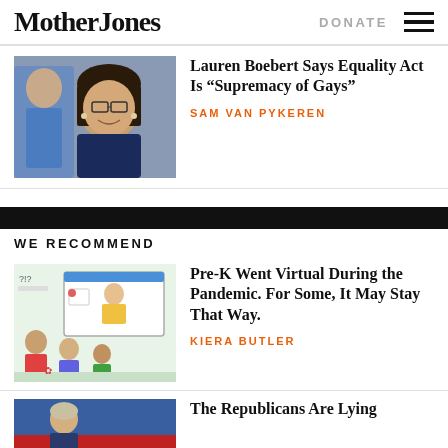Mother Jones | DONATE
[Figure (photo): Photo of Lauren Boebert smiling, wearing glasses and a dark blazer, with a man in a blue suit in the background]
Lauren Boebert Says Equality Act Is “Supremacy of Gays”
SAM VAN PYKEREN
WE RECOMMEND
[Figure (illustration): Colorful illustration of young children doing virtual learning with a teacher on a screen, kids drawing and playing around a laptop]
Pre-K Went Virtual During the Pandemic. For Some, It May Stay That Way.
KIERA BUTLER
The Republicans Are Lying